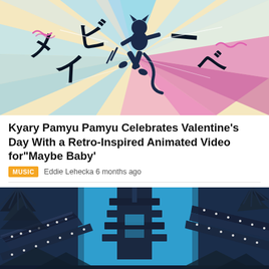[Figure (illustration): Retro-inspired animated illustration with a dark blue silhouette of a dancing figure, Japanese katakana text, and colorful rays of light (cyan, pink, purple) on a cream/beige background.]
Kyary Pamyu Pamyu Celebrates Valentine's Day With a Retro-Inspired Animated Video for“Maybe Baby’
MUSIC   Eddie Lehecka 6 months ago
[Figure (photo): Dark blue and teal photo of traditional Japanese pagoda rooftops with decorative lights, against a bright blue sky.]